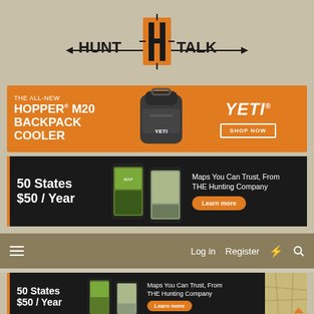[Figure (logo): Hunt Talk logo with large H emblem in orange and black, with arrows through the text HUNT TALK]
[Figure (infographic): YETI advertisement banner: THE ALL-NEW HOPPER M20 BACKPACK COOLER with YETI branded backpack cooler image and SHOP NOW button]
[Figure (infographic): Hunting maps advertisement: 50 States $50 / Year, Maps You Can Trust, From THE Hunting Company, with Learn more button and phone screenshots of maps]
[Figure (screenshot): Navigation bar with hamburger menu, Log in, Register, lightning bolt icon, and search icon on tan/khaki background]
[Figure (infographic): Hunting maps advertisement repeated at bottom: 50 States $50 / Year, Maps You Can Trust, From THE Hunting Company, Learn more button]